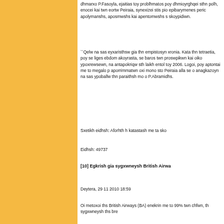dhmarxo P.Fasoyla, ejaitias toy problhmatos poy dhmioyrghqei sthn polh, enocei kai twn eortw Peiraia, synexizei stis pio epibarymenes peric apolymanshs, aposmwshs kai apentomwshs s skoypidiwn.
``Qelw na sas eyxaristhsw gia thn empistosyn xronia. Kata thn tetraetia, poy se liges ebdom akoyrasta, se baros twn proswpikwn kai oiko ypoxrewsewn, na antapokriqw sth laikh entol toy 2006. Logoi, poy aptontai me to megalo p aporrimmatwn oxi mono sto Peiraia alla se o anagkazoyn na sas ypoballw thn paraithsh mo o P.Abramidhs.
Sxetikh eidhsh: Aforhth h katastash me ta sko
Eidhsh: 49737
[10] Egkrish gia sygxwneysh British Airwa
Deytera, 29 11 2010 18:59
Oi metoxoi ths British Airways (BA) enekrin me to 99% twn chfwn, th sygxwneysh ths bre